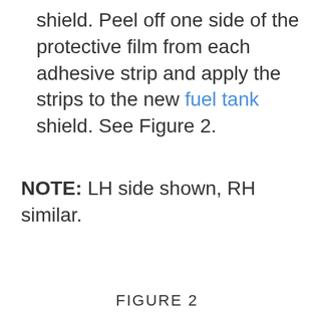shield. Peel off one side of the protective film from each adhesive strip and apply the strips to the new fuel tank shield. See Figure 2.
NOTE: LH side shown, RH similar.
FIGURE 2